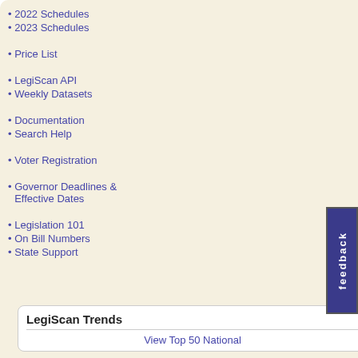2022 Schedules
2023 Schedules
Price List
LegiScan API
Weekly Datasets
Documentation
Search Help
Voter Registration
Governor Deadlines & Effective Dates
Legislation 101
On Bill Numbers
State Support
LegiScan Trends
View Top 50 National
| Stance | State | Bill | Sta... |
| --- | --- | --- | --- |
| [magnify] | US | HB7900 | Eng... 50%... |
| [magnify] | US | HR744 | Intr... |